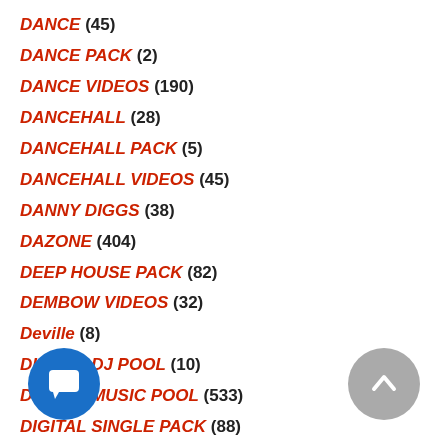DANCE (45)
DANCE PACK (2)
DANCE VIDEOS (190)
DANCEHALL (28)
DANCEHALL PACK (5)
DANCEHALL VIDEOS (45)
DANNY DIGGS (38)
DAZONE (404)
DEEP HOUSE PACK (82)
DEMBOW VIDEOS (32)
Deville (8)
DIGITAL DJ POOL (10)
DIGITAL MUSIC POOL (533)
DIGITAL SINGLE PACK (88)
DIRECT MUSIC SERVICE (201)